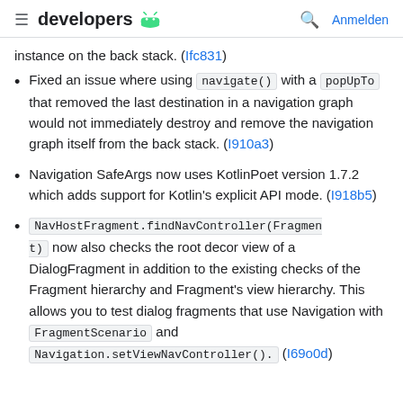≡ developers 🤖  🔍 Anmelden
instance on the back stack. (Ifc831)
Fixed an issue where using navigate() with a popUpTo that removed the last destination in a navigation graph would not immediately destroy and remove the navigation graph itself from the back stack. (I910a3)
Navigation SafeArgs now uses KotlinPoet version 1.7.2 which adds support for Kotlin's explicit API mode. (I918b5)
NavHostFragment.findNavController(Fragment) now also checks the root decor view of a DialogFragment in addition to the existing checks of the Fragment hierarchy and Fragment's view hierarchy. This allows you to test dialog fragments that use Navigation with FragmentScenario and Navigation.setViewNavController(). (I69o0d)